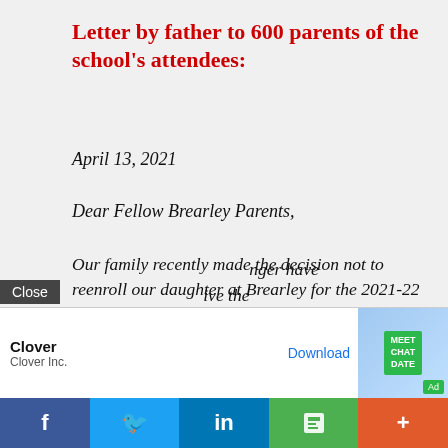Letter by father to 600 parents of the school's attendees:
April 13, 2021
Dear Fellow Brearley Parents,
Our family recently made the decision not to reenroll our daughter at Brearley for the 2021-22 school year. She has been at Brearley for seven years, beginning in kindergarten. In short, we no longer believe that Brearley's administration and Board of Trustees have any of our children's best interests at heart. [We no] longer have [the capacity to] live the [...]